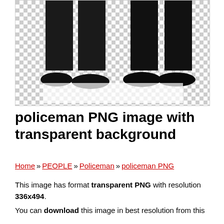[Figure (photo): Lower half of two people in black uniforms (policemen) wearing black shoes, on a transparent/checkered PNG background]
policeman PNG image with transparent background
Home » PEOPLE » Policeman » policeman PNG
This image has format transparent PNG with resolution 336x494. You can download this image in best resolution from this